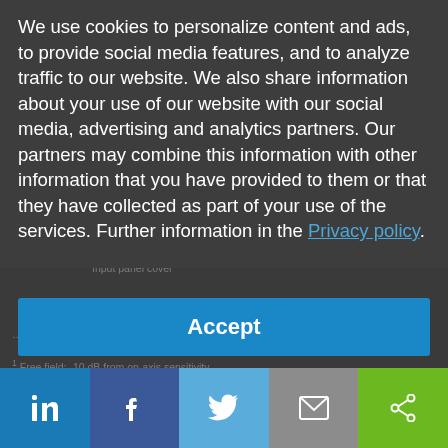We use cookies to personalize content and ads, to provide social media features, and to analyze traffic to our website. We also share information about your use of our website with our social media, advertising and analytics partners. Our partners may combine this information with other information that you have provided to them or that they have collected as part of your use of the services. Further information in the Privacy policy.
Accept
[Figure (infographic): Social sharing bar with LinkedIn, Facebook, Twitter, Email, and Share icons]